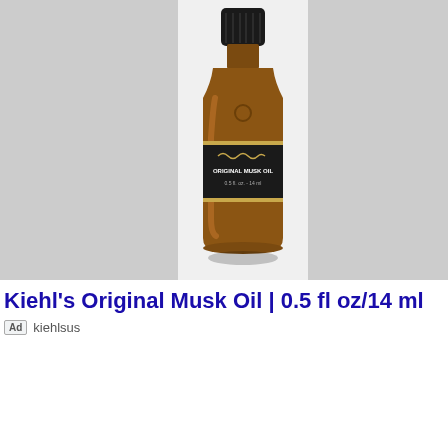[Figure (photo): Product photo of Kiehl's Original Musk Oil small amber glass bottle with black cap and label reading 'Original Musk Oil 0.5 fl. oz. - 14 ml', set against a light background with gray panels on left and right sides.]
Kiehl's Original Musk Oil | 0.5 fl oz/14 ml
Ad kiehlsus